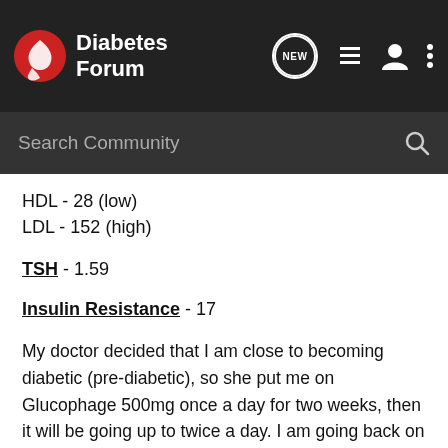[Figure (screenshot): Diabetes Forum website header with logo, navigation icons (NEW chat bubble, list, user, more), and search bar reading 'Search Community']
HDL - 28 (low)
LDL - 152 (high)
TSH - 1.59
Insulin Resistance - 17
My doctor decided that I am close to becoming diabetic (pre-diabetic), so she put me on Glucophage 500mg once a day for two weeks, then it will be going up to twice a day. I am going back on Aug. 26th for a checkup and then she will give me 3 months of Glucophage.
Since you all are the experts here - can you tell me what all of this means. My doctor has decided that she wants me to walk 2